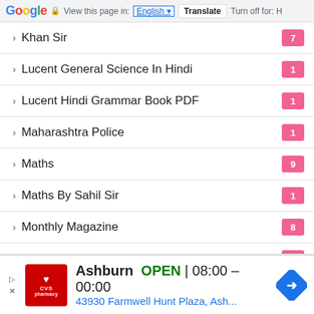Google | View this page in: English | Translate | Turn off for: H
› Khan Sir  7
› Lucent General Science In Hindi  1
› Lucent Hindi Grammar Book PDF  1
› Maharashtra Police  1
› Maths  9
› Maths By Sahil Sir  1
› Monthly Magazine  8
› MPPSC  5
∨ agogy  4
[Figure (other): CVS Pharmacy advertisement banner: Ashburn OPEN 08:00 – 00:00, 43930 Farmwell Hunt Plaza, Ash... with navigation arrow icon]